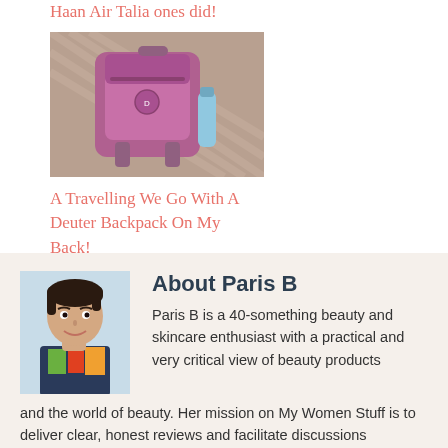Haan Air Talia ones did!
[Figure (photo): Photo of a pink/purple Deuter backpack on a striped surface]
A Travelling We Go With A Deuter Backpack On My Back!
About Paris B
[Figure (photo): Portrait photo of Paris B, a woman with short dark hair wearing a colorful floral top]
Paris B is a 40-something beauty and skincare enthusiast with a practical and very critical view of beauty products and the world of beauty. Her mission on My Women Stuff is to deliver clear, honest reviews and facilitate discussions